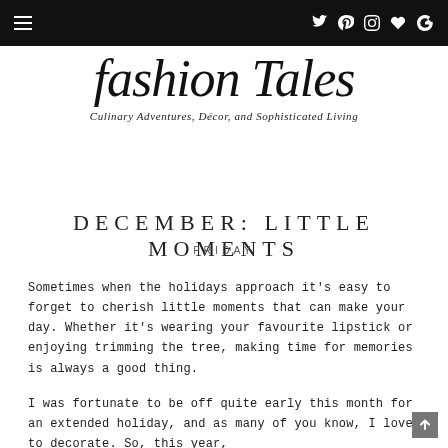fashion Tales — Culinary Adventures, Décor, and Sophisticated Living
[Figure (logo): Fashion Tales script logo with tagline: Culinary Adventures, Décor, and Sophisticated Living]
DECEMBER: LITTLE MOMENTS
FRIDAY
Sometimes when the holidays approach it's easy to forget to cherish little moments that can make your day. Whether it's wearing your favourite lipstick or enjoying trimming the tree, making time for memories is always a good thing.
I was fortunate to be off quite early this month for an extended holiday, and as many of you know, I love to decorate. So, this year,